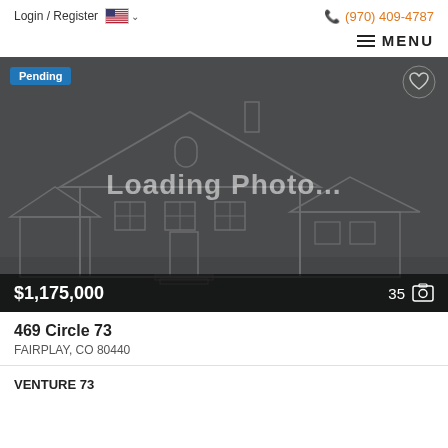Login / Register  (970) 409-4787
MENU
[Figure (screenshot): Loading photo placeholder for a real estate listing showing a house outline graphic on dark background, with Pending badge, heart icon, price $1,175,000, and photo count 35]
469 Circle 73
FAIRPLAY, CO 80440
VENTURE 73